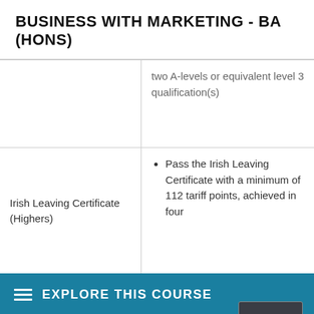BUSINESS WITH MARKETING - BA (HONS)
| Qualification | Requirements |
| --- | --- |
|  | two A-levels or equivalent level 3 qualification(s) |
| Irish Leaving Certificate (Highers) | Pass the Irish Leaving Certificate with a minimum of 112 tariff points, achieved in four |
EXPLORE THIS COURSE
site you agree to this, or visit our cookie policy to manage your settings.